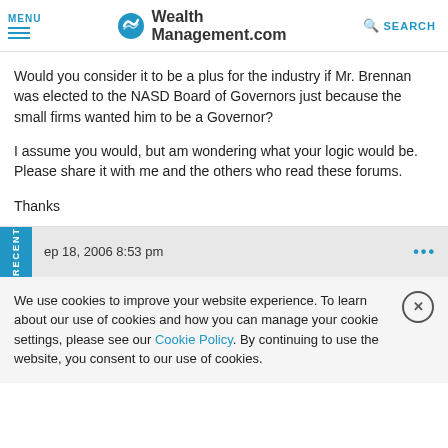MENU | WealthManagement.com | SEARCH
Would you consider it to be a plus for the industry if Mr. Brennan was elected to the NASD Board of Governors just because the small firms wanted him to be a Governor?

I assume you would, but am wondering what your logic would be. Please share it with me and the others who read these forums.

Thanks
ep 18, 2006 8:53 pm
We use cookies to improve your website experience. To learn about our use of cookies and how you can manage your cookie settings, please see our Cookie Policy. By continuing to use the website, you consent to our use of cookies.